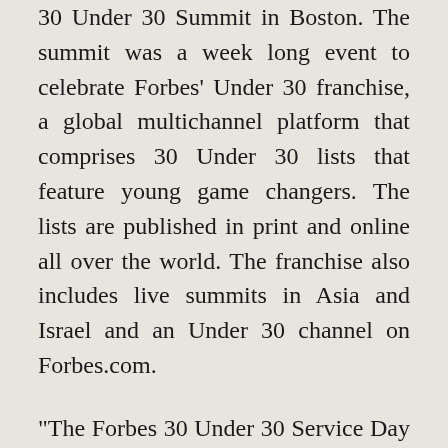30 Under 30 Summit in Boston. The summit was a week long event to celebrate Forbes' Under 30 franchise, a global multichannel platform that comprises 30 Under 30 lists that feature young game changers. The lists are published in print and online all over the world. The franchise also includes live summits in Asia and Israel and an Under 30 channel on Forbes.com.
“The Forbes 30 Under 30 Service Day was a true success and a real treat for Boston Public Schools’ students,” said Danielle Crystal, deputy chief of staff at Boston Public Schools. “Through fun and engaging conversations, students were mentored and inspired to achieve more throughout their academic pathways to professional careers. School leaders, teachers, and students all were so very impressed with our guest speakers. There are endless career possibilities for